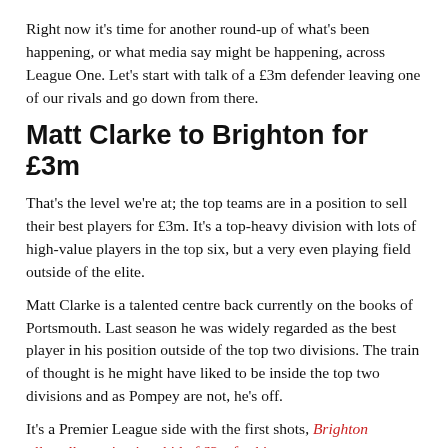Right now it's time for another round-up of what's been happening, or what media say might be happening, across League One. Let's start with talk of a £3m defender leaving one of our rivals and go down from there.
Matt Clarke to Brighton for £3m
That's the level we're at; the top teams are in a position to sell their best players for £3m. It's a top-heavy division with lots of high-value players in the top six, but a very even playing field outside of the elite.
Matt Clarke is a talented centre back currently on the books of Portsmouth. Last season he was widely regarded as the best player in his position outside of the top two divisions. The train of thought is he might have liked to be inside the top two divisions and as Pompey are not, he's off.
It's a Premier League side with the first shots, Brighton allegedly putting in a bid of £3m for him.